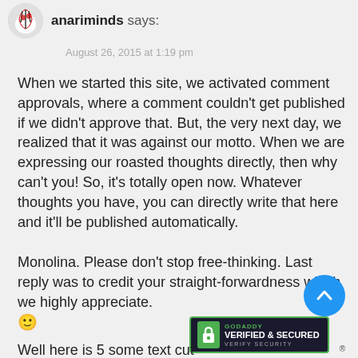anariminds says:
August 26, 2015 at 1:19 pm
When we started this site, we activated comment approvals, where a comment couldn't get published if we didn't approve that. But, the very next day, we realized that it was against our motto. When we are expressing our roasted thoughts directly, then why can't you! So, it's totally open now. Whatever thoughts you have, you can directly write that here and it'll be published automatically.
Monolina. Please don't stop free-thinking. Last reply was to credit your straight-forwardness which we highly appreciate. 🙂
Well here is Some text cut off